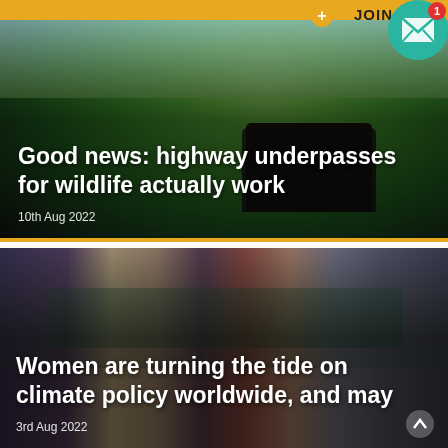[Figure (photo): Wildlife highway underpass with green hills and vegetation in background]
Good news: highway underpasses for wildlife actually work
10th Aug 2022
[Figure (photo): Group of politicians standing in parliament chamber, several wearing masks]
Women are turning the tide on climate policy worldwide, and may
3rd Aug 2022